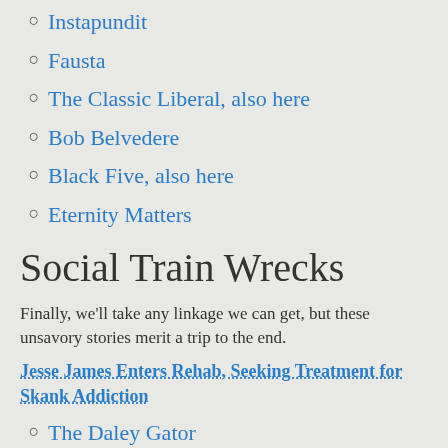Instapundit
Fausta
The Classic Liberal, also here
Bob Belvedere
Black Five, also here
Eternity Matters
Social Train Wrecks
Finally, we’ll take any linkage we can get, but these unsavory stories merit a trip to the end.
Jesse James Enters Rehab, Seeking Treatment for Skank Addiction
The Daley Gator
Celebrity Meltdown Update